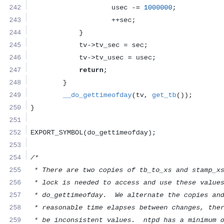Source code listing, lines 242–264, C kernel code for do_gettimeofday and update_gtod functions